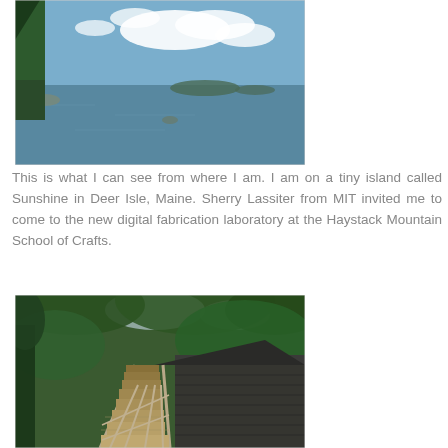[Figure (photo): Scenic coastal view from Deer Isle, Maine showing calm water, islands in the background, evergreen trees on the left, and a blue sky with clouds]
This is what I can see from where I am. I am on a tiny island called Sunshine in Deer Isle, Maine. Sherry Lassiter from MIT invited me to come to the new digital fabrication laboratory at the Haystack Mountain School of Crafts.
[Figure (photo): Wooden boardwalk or bridge path leading through lush green forest with coniferous trees, alongside a dark shingled building at Haystack Mountain School of Crafts]